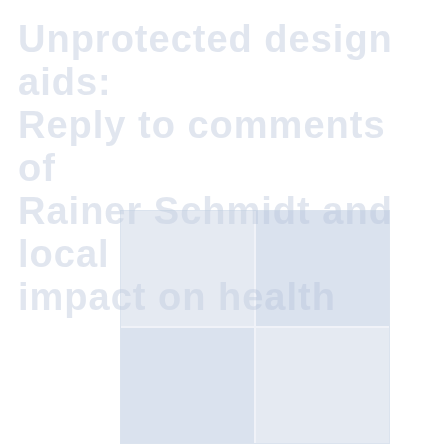Unprotected design aids: Reply to comments of Rainer Schmidt and local impact on health
[Figure (photo): Faded/watermarked photograph split into a 2x2 grid showing scientific or technical imagery, very low contrast against white background]